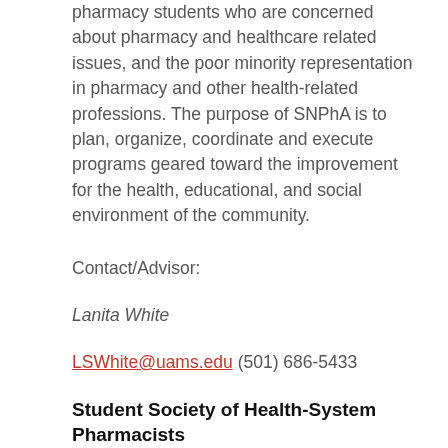pharmacy students who are concerned about pharmacy and healthcare related issues, and the poor minority representation in pharmacy and other health-related professions. The purpose of SNPhA is to plan, organize, coordinate and execute programs geared toward the improvement for the health, educational, and social environment of the community.
Contact/Advisor:
Lanita White
LSWhite@uams.edu (501) 686-5433
Student Society of Health-System Pharmacists